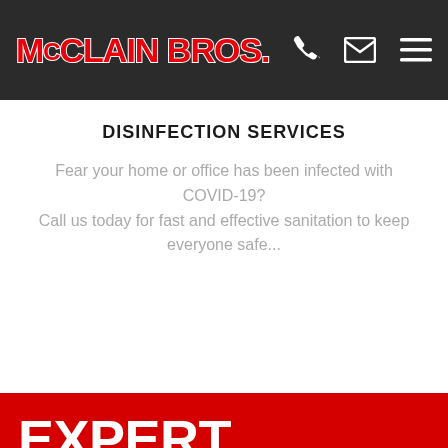MCCLAIN BROS.
DISINFECTION SERVICES
Fear your home or office has been infected with COVID-19? Call us today for fast and effective sanitation to keep everyone safe...
EXPERT ELECTRICAL ADVICE FROM YOUR LOCAL